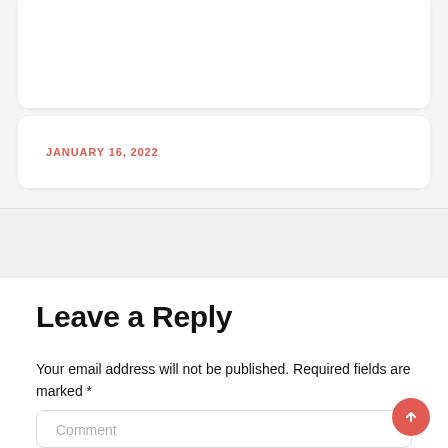JANUARY 16, 2022
Leave a Reply
Your email address will not be published. Required fields are marked *
Comment